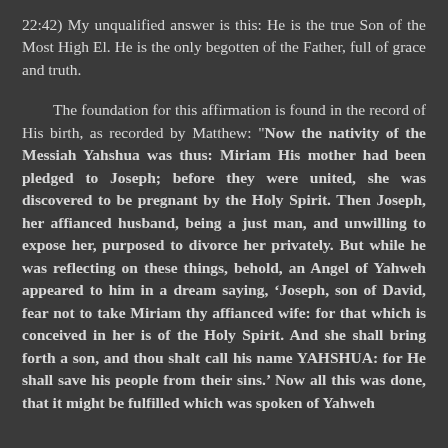22:42) My unqualified answer is this: He is the true Son of the Most High El. He is the only begotten of the Father, full of grace and truth.
The foundation for this affirmation is found in the record of His birth, as recorded by Matthew: "Now the nativity of the Messiah Yahshua was thus: Miriam His mother had been pledged to Joseph; before they were united, she was discovered to be pregnant by the Holy Spirit. Then Joseph, her affianced husband, being a just man, and unwilling to expose her, purposed to divorce her privately. But while he was reflecting on these things, behold, an Angel of Yahweh appeared to him in a dream saying, ‘Joseph, son of David, fear not to take Miriam thy affianced wife: for that which is conceived in her is of the Holy Spirit. And she shall bring forth a son, and thou shalt call his name YAHSHUA: for He shall save his people from their sins.’ Now all this was done, that it might be fulfilled which was spoken of Yahweh